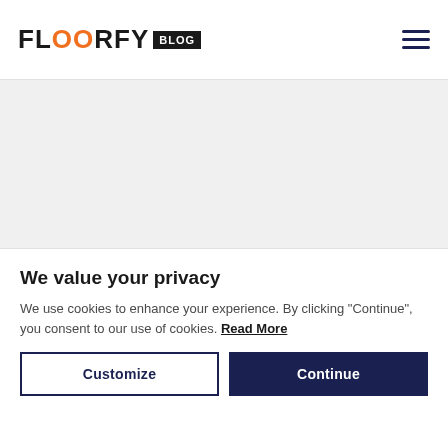[Figure (logo): FLOORFY BLOG logo with orange double-O letters and BLOG in white on black background]
[Figure (other): Hamburger menu icon with three horizontal dark navy lines]
[Figure (other): Gray content area placeholder]
We value your privacy
We use cookies to enhance your experience. By clicking "Continue", you consent to our use of cookies. Read More